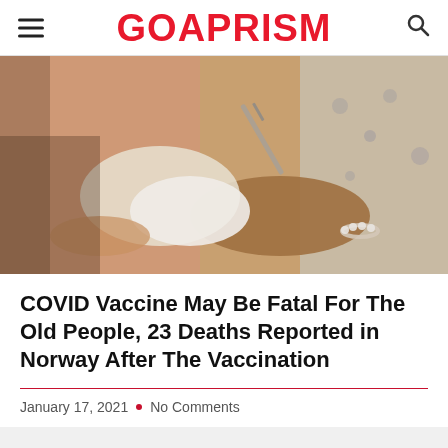GOAPRISM
[Figure (photo): Close-up of gloved hands administering a vaccine injection to an elderly patient's arm; the patient wears a floral hospital gown and a pearl bracelet.]
COVID Vaccine May Be Fatal For The Old People, 23 Deaths Reported in Norway After The Vaccination
January 17, 2021 • No Comments